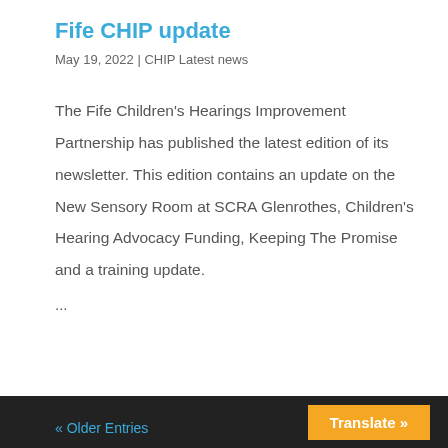Fife CHIP update
May 19, 2022 | CHIP Latest news
The Fife Children's Hearings Improvement Partnership has published the latest edition of its newsletter. This edition contains an update on the New Sensory Room at SCRA Glenrothes, Children's Hearing Advocacy Funding, Keeping The Promise and a training update.
...
« Older Entries
Translate »